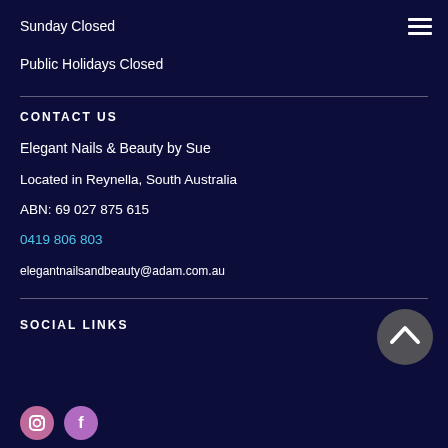Sunday Closed
Public Holidays Closed
CONTACT US
Elegant Nails & Beauty by Sue
Located in Reynella, South Australia
ABN: 69 027 875 615
0419 806 803
elegantnailsandbeauty@adam.com.au
SOCIAL LINKS
[Figure (illustration): Two social media icon circles at bottom of page]
[Figure (illustration): Scroll-to-top button — dark grey circle with upward chevron arrow]